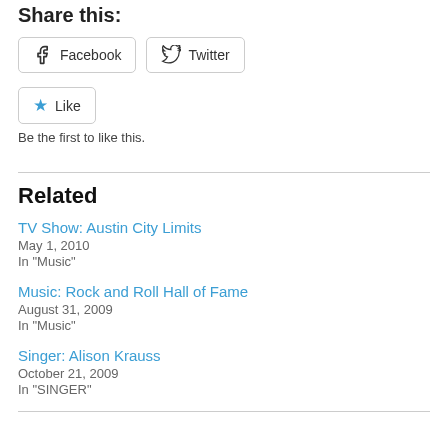Share this:
[Figure (other): Social sharing buttons: Facebook and Twitter]
[Figure (other): Like button with star icon]
Be the first to like this.
Related
TV Show: Austin City Limits
May 1, 2010
In "Music"
Music: Rock and Roll Hall of Fame
August 31, 2009
In "Music"
Singer: Alison Krauss
October 21, 2009
In "SINGER"